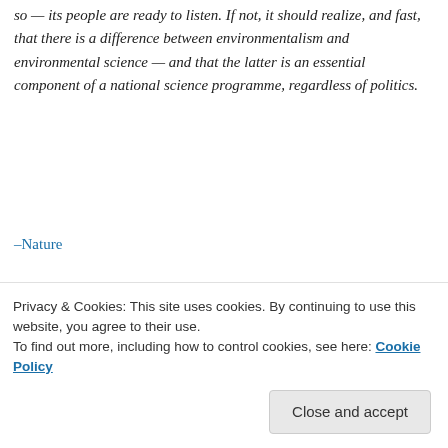so — its people are ready to listen. If not, it should realize, and fast, that there is a difference between environmentalism and environmental science — and that the latter is an essential component of a national science programme, regardless of politics.
–Nature
Sponsored Content
[Figure (photo): Partial photo of a person with dark hair against a grey background, cropped to show top of head]
Privacy & Cookies: This site uses cookies. By continuing to use this website, you agree to their use.
To find out more, including how to control cookies, see here: Cookie Policy
Close and accept